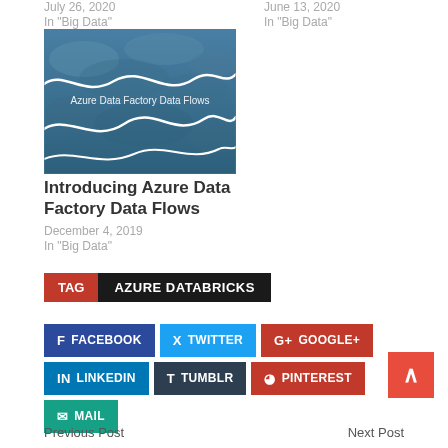July 26, 2020
In "Big Data"
June 13, 2020
In "Big Data"
[Figure (illustration): Azure Data Factory Data Flows banner image with ocean waves and white flowing line curves]
Introducing Azure Data Factory Data Flows
December 4, 2019
In "Big Data"
TAG | AZURE DATABRICKS
FACEBOOK | TWITTER | GOOGLE+ | LINKEDIN | TUMBLR | PINTEREST | MAIL